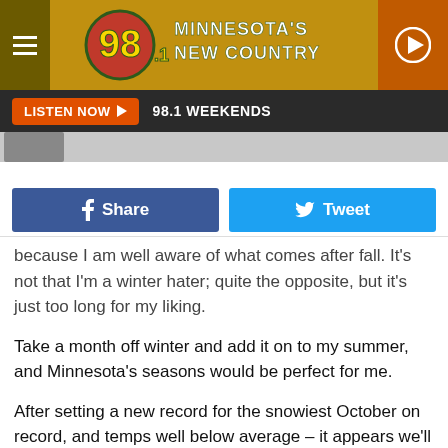98.1 Minnesota's New Country
LISTEN NOW ▶   98.1 WEEKENDS
[Figure (screenshot): Partial image strip at top of article]
f Share    Tweet
because I am well aware of what comes after fall. It's not that I'm a winter hater; quite the opposite, but it's just too long for my liking.
Take a month off winter and add it on to my summer, and Minnesota's seasons would be perfect for me.
After setting a new record for the snowiest October on record, and temps well below average – it appears we'll be starting November off on a warm note.